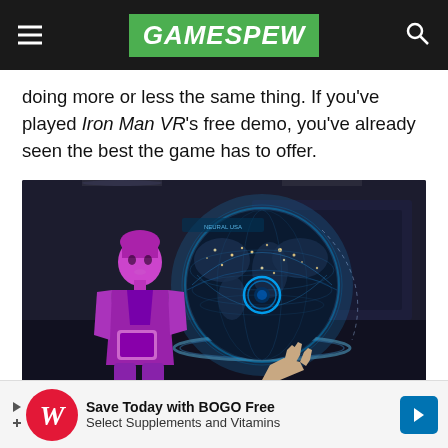GAMESPEW
doing more or less the same thing. If you've played Iron Man VR's free demo, you've already seen the best the game has to offer.
[Figure (screenshot): Iron Man VR gameplay screenshot showing a holographic globe with FRIDAY AI character in purple/magenta on the left, and a hand reaching toward the globe interface. Captured from PS4 Pro. © 2020 MARVEL.]
Save Today with BOGO Free Select Supplements and Vitamins